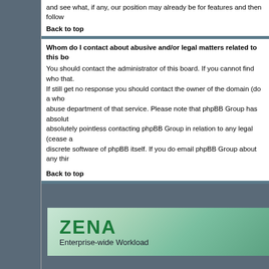and see what, if any, our position may already be for features and then follow
Back to top
Whom do I contact about abusive and/or legal matters related to this bo
You should contact the administrator of this board. If you cannot find who that. If still get no response you should contact the owner of the domain (do a who abuse department of that service. Please note that phpBB Group has absolut absolutely pointless contacting phpBB Group in relation to any legal (cease a discrete software of phpBB itself. If you do email phpBB Group about any thir
Back to top
[Figure (logo): ZENA Enterprise-wide Workload logo with green gradient banner]
Pow
Co